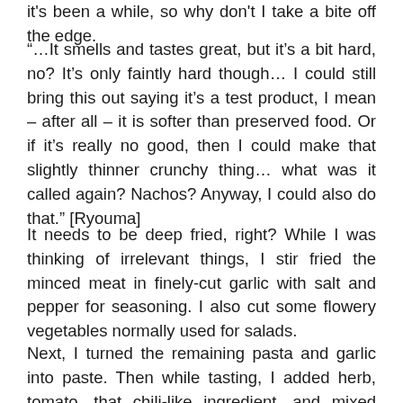it's been a while, so why don't I take a bite off the edge.
“…It smells and tastes great, but it’s a bit hard, no? It’s only faintly hard though… I could still bring this out saying it’s a test product, I mean – after all – it is softer than preserved food. Or if it’s really no good, then I could make that slightly thinner crunchy thing… what was it called again? Nachos? Anyway, I could also do that.” [Ryouma]
It needs to be deep fried, right? While I was thinking of irrelevant things, I stir fried the minced meat in finely-cut garlic with salt and pepper for seasoning. I also cut some flowery vegetables normally used for salads.
Next, I turned the remaining pasta and garlic into paste. Then while tasting, I added herb, tomato, that chili-like ingredient, and mixed them together to create the salsa.